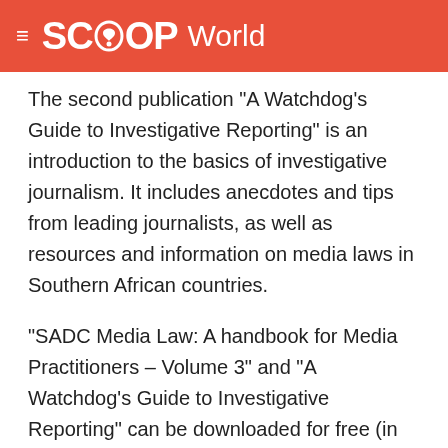SCOOP World
The second publication "A Watchdog's Guide to Investigative Reporting" is an introduction to the basics of investigative journalism. It includes anecdotes and tips from leading journalists, as well as resources and information on media laws in Southern African countries.
"SADC Media Law: A handbook for Media Practitioners – Volume 3" and "A Watchdog's Guide to Investigative Reporting" can be downloaded for free (in Adobe Acrobat format) here: http://www.kasmedia.org/publications.htm
For more information or to obtain hard copies of the